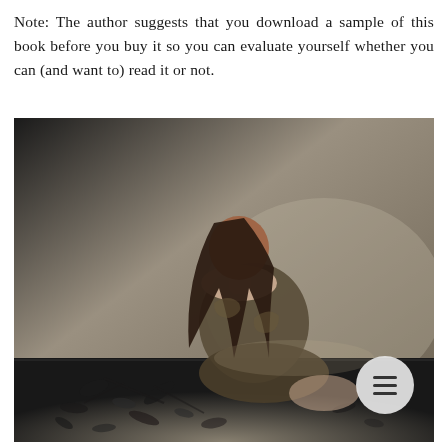Note: The author suggests that you download a sample of this book before you buy it so you can evaluate yourself whether you can (and want to) read it or not.
[Figure (photo): Black and white photograph of a young woman with long dark hair sitting on a floor with her back to the camera, wearing a rough burlap-like garment, surrounded by scattered wilted flower petals. A circular menu icon appears in the bottom right corner of the image.]